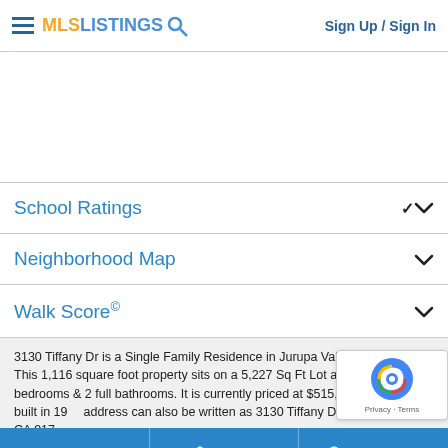MLS LISTINGS | Sign Up / Sign In
[Figure (other): Blank white advertising/image placeholder area]
School Ratings
Neighborhood Map
Walk Score©
3130 Tiffany Dr is a Single Family Residence in Jurupa Valley, CA 91752. This 1,116 square foot property sits on a 5,227 Sq Ft Lot and features 2 bedrooms & 2 full bathrooms. It is currently priced at $515,000 and was built in 19... address can also be written as 3130 Tiffany Dr, Jurupa Valley, CA 917...
Call | Agent | Directions